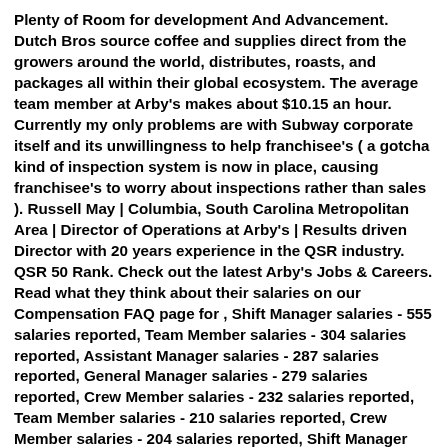Plenty of Room for development And Advancement. Dutch Bros source coffee and supplies direct from the growers around the world, distributes, roasts, and packages all within their global ecosystem. The average team member at Arby's makes about $10.15 an hour. Currently my only problems are with Subway corporate itself and its unwillingness to help franchisee's ( a gotcha kind of inspection system is now in place, causing franchisee's to worry about inspections rather than sales ). Russell May | Columbia, South Carolina Metropolitan Area | Director of Operations at Arby's | Results driven Director with 20 years experience in the QSR industry. QSR 50 Rank. Check out the latest Arby's Jobs & Careers. Read what they think about their salaries on our Compensation FAQ page for , Shift Manager salaries - 555 salaries reported, Team Member salaries - 304 salaries reported, Assistant Manager salaries - 287 salaries reported, General Manager salaries - 279 salaries reported, Crew Member salaries - 232 salaries reported, Team Member salaries - 210 salaries reported, Crew Member salaries - 204 salaries reported, Shift Manager salaries - 73 salaries reported, Restaurant Manager salaries - 69 salaries reported, Restaurant Staff salaries - 49 salaries reported, Shift Leader salaries - 46 salaries reported, Arby's General Manager...